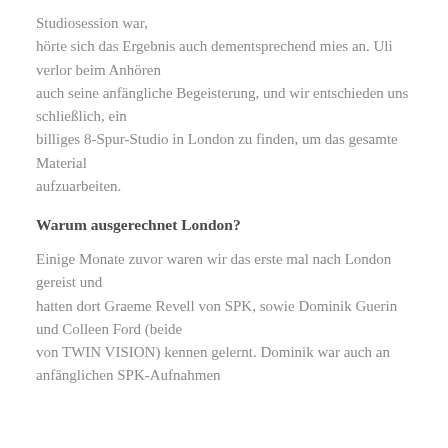Studiosession war,
hörte sich das Ergebnis auch dementsprechend mies an. Uli verlor beim Anhören
auch seine anfängliche Begeisterung, und wir entschieden uns schließlich, ein
billiges 8-Spur-Studio in London zu finden, um das gesamte Material
aufzuarbeiten.
Warum ausgerechnet London?
Einige Monate zuvor waren wir das erste mal nach London gereist und
hatten dort Graeme Revell von SPK, sowie Dominik Guerin und Colleen Ford (beide
von TWIN VISION) kennen gelernt. Dominik war auch an anfänglichen SPK-Aufnahmen